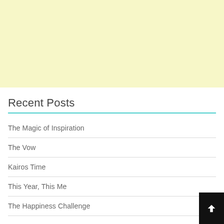[Figure (other): Light yellow banner/advertisement area at top of page]
Recent Posts
The Magic of Inspiration
The Vow
Kairos Time
This Year, This Me
The Happiness Challenge